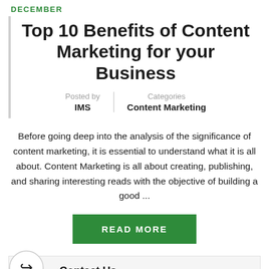DECEMBER
Top 10 Benefits of Content Marketing for your Business
Posted by IMS | Categories Content Marketing
Before going deep into the analysis of the significance of content marketing, it is essential to understand what it is all about. Content Marketing is all about creating, publishing, and sharing interesting reads with the objective of building a good ...
READ MORE
Contact Us